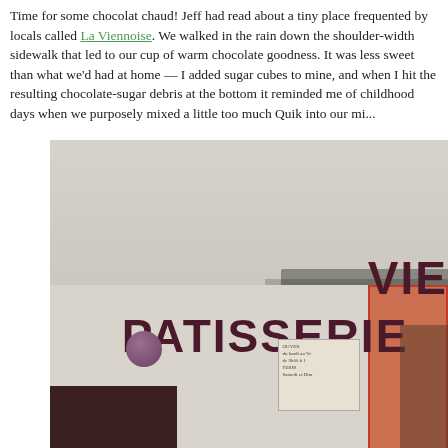Time for some chocolat chaud! Jeff had read about a tiny place frequented by locals called La Viennoise. We walked in the rain down the shoulder-width sidewalk that led to our cup of warm chocolate goodness. It was less sweet than what we'd had at home — I added sugar cubes to mine, and when I hit the resulting chocolate-sugar debris at the bottom it reminded me of childhood days when we purposely mixed a little too much Quik into our mi...
[Figure (photo): Exterior photograph of a Parisian patisserie storefront showing the sign 'PATISSERIE VIE...' in dark letters on a cream/beige facade. The building has dark maroon/purple window frames and door on the right. A purple/mauve round object is visible inside the left window. A small business hours sign is visible near the right entrance.]